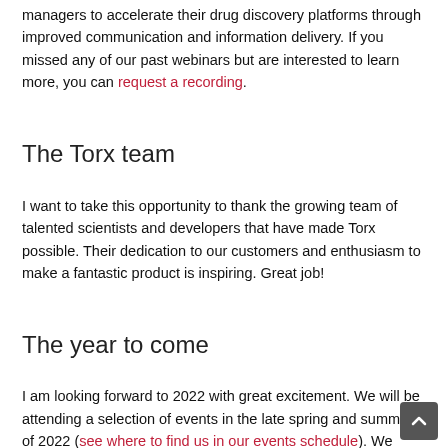managers to accelerate their drug discovery platforms through improved communication and information delivery. If you missed any of our past webinars but are interested to learn more, you can request a recording.
The Torx team
I want to take this opportunity to thank the growing team of talented scientists and developers that have made Torx possible. Their dedication to our customers and enthusiasm to make a fantastic product is inspiring. Great job!
The year to come
I am looking forward to 2022 with great excitement. We will be attending a selection of events in the late spring and summer of 2022 (see where to find us in our events schedule). We have many new features and improvements to bring to the platform to further streamline drug discovery chemistry. I'm looking forward to adding more improvements to Torx Software and sharing